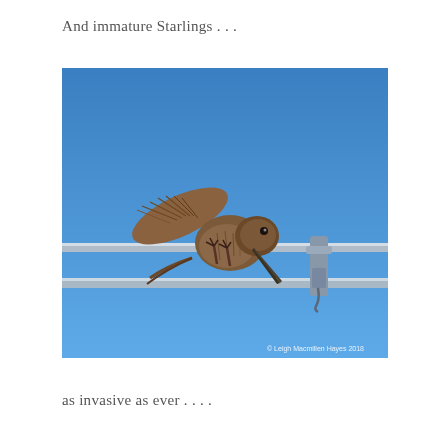And immature Starlings . . .
[Figure (photo): An immature Starling (brown, streaked plumage) perched on metal antenna or aerial rods against a clear blue sky, leaning forward with wings slightly raised. Copyright watermark: © Leigh Macmillen Hayes 2018]
as invasive as ever . . . .